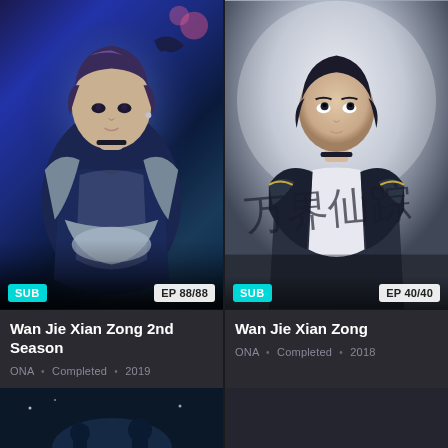[Figure (illustration): Anime/CGI fantasy character with dark hair, blue robes, and ornate armor, crossed arms, purple/blue mystical background — cover art for Wan Jie Xian Zong 2nd Season]
SUB
EP 88/88
Wan Jie Xian Zong 2nd Season
ONA • Completed • 2019
[Figure (illustration): Anime/CGI fantasy character with dark hair, white and dark armor, looking upward, misty grey background with Chinese calligraphy — cover art for Wan Jie Xian Zong]
SUB
EP 40/40
Wan Jie Xian Zong
ONA • Completed • 2018
[Figure (illustration): Partial view of a third anime card at the bottom of the page, dark blue sky background]